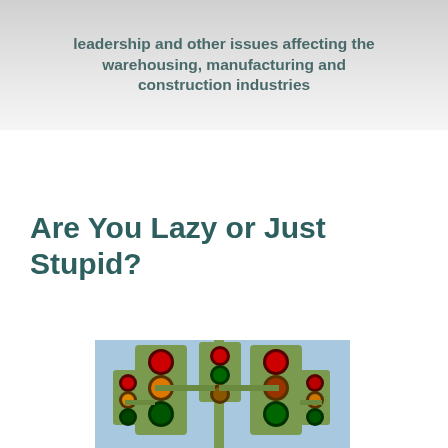leadership and other issues affecting the warehousing, manufacturing and construction industries
Are You Lazy or Just Stupid?
[Figure (photo): A cluster of traffic signal lights (green/red/orange) mounted on poles against a light blue sky background.]